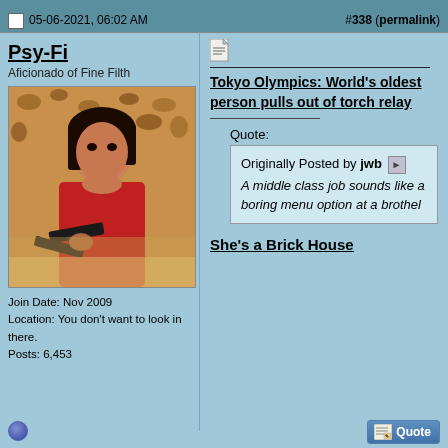05-06-2021, 06:02 AM    #338 (permalink)
Psy-Fi
Aficionado of Fine Filth
[Figure (photo): Avatar image of a woman in a red dress holding a gun, with leopard print background]
Join Date: Nov 2009
Location: You don't want to look in there.
Posts: 6,453
Tokyo Olympics: World's oldest person pulls out of torch relay
Quote:
Originally Posted by jwb
A middle class job sounds like a boring menu option at a brothel
She's a Brick House